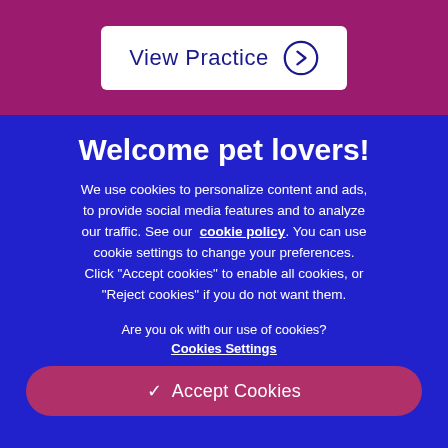[Figure (screenshot): View Practice button with arrow circle icon on magenta/purple background header bar]
Welcome pet lovers!
We use cookies to personalize content and ads, to provide social media features and to analyze our traffic. See our cookie policy. You can use cookie settings to change your preferences. Click "Accept cookies" to enable all cookies, or "Reject cookies" if you do not want them.
Are you ok with our use of cookies?
Cookies Settings
✓ Accept Cookies